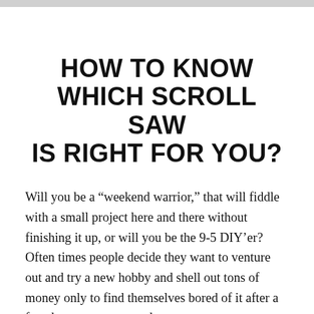HOW TO KNOW WHICH SCROLL SAW IS RIGHT FOR YOU?
Will you be a “weekend warrior,” that will fiddle with a small project here and there without finishing it up, or will you be the 9-5 DIY’er? Often times people decide they want to venture out and try a new hobby and shell out tons of money only to find themselves bored of it after a few days–money wasted.
If you’re unsure, then a beginner saw is